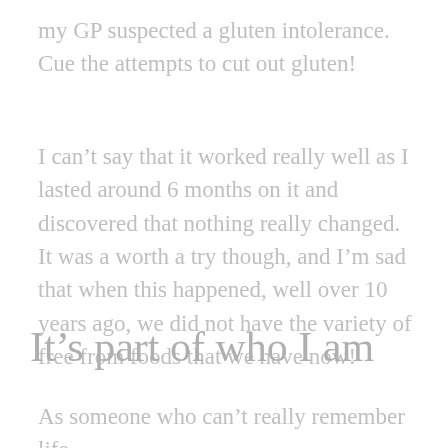my GP suspected a gluten intolerance. Cue the attempts to cut out gluten!
I can't say that it worked really well as I lasted around 6 months on it and discovered that nothing really changed. It was a worth a try though, and I'm sad that when this happened, well over 10 years ago, we did not have the variety of free from foods that we have now!
It's part of who I am
As someone who can't really remember life